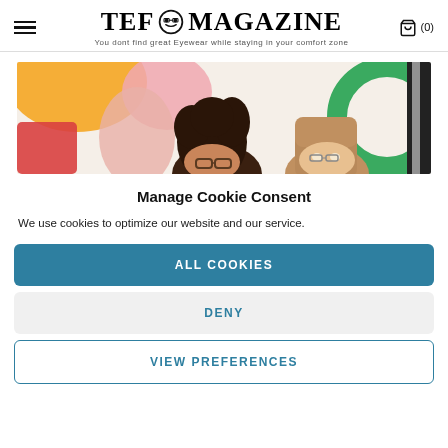TEF MAGAZINE — You dont find great Eyewear while staying in your comfort zone — (0)
[Figure (photo): Two people with curly hair and straight hair wearing glasses, peeking up from bottom of frame against a colorful abstract painted wall with orange, pink, red, black, white and green shapes.]
Manage Cookie Consent
We use cookies to optimize our website and our service.
ALL COOKIES
DENY
VIEW PREFERENCES